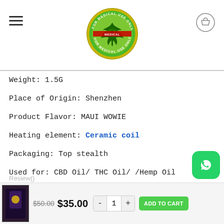[Figure (logo): Circular logo with cannabis leaf, text 'FOR MEDICAL USE ONLY' around the border, green and yellow colors]
Weight: 1.5G
Place of Origin: Shenzhen
Product Flavor: MAUI WOWIE
Heating element: Ceramic coil
Packaging: Top stealth
Used for: CBD Oil/ THC Oil/ /Hemp Oil
Material: Glass
Reviews ()
$50.00  $35.00   -  1  +   ADD TO CART